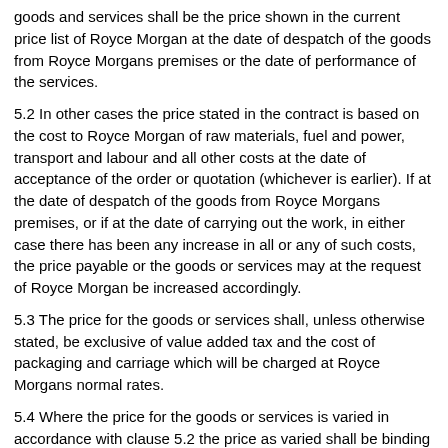goods and services shall be the price shown in the current price list of Royce Morgan at the date of despatch of the goods from Royce Morgans premises or the date of performance of the services.
5.2 In other cases the price stated in the contract is based on the cost to Royce Morgan of raw materials, fuel and power, transport and labour and all other costs at the date of acceptance of the order or quotation (whichever is earlier). If at the date of despatch of the goods from Royce Morgans premises, or if at the date of carrying out the work, in either case there has been any increase in all or any of such costs, the price payable or the goods or services may at the request of Royce Morgan be increased accordingly.
5.3 The price for the goods or services shall, unless otherwise stated, be exclusive of value added tax and the cost of packaging and carriage which will be charged at Royce Morgans normal rates.
5.4 Where the price for the goods or services is varied in accordance with clause 5.2 the price as varied shall be binding on both parties and shall not give either party any option of cancellation.